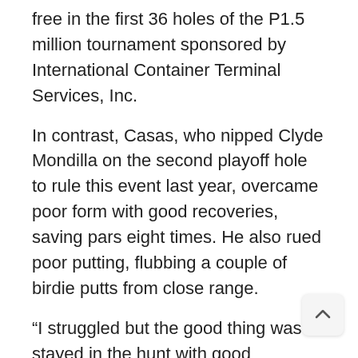free in the first 36 holes of the P1.5 million tournament sponsored by International Container Terminal Services, Inc.
In contrast, Casas, who nipped Clyde Mondilla on the second playoff hole to rule this event last year, overcame poor form with good recoveries, saving pars eight times. He also rued poor putting, flubbing a couple of birdie putts from close range.
“I struggled but the good thing was I stayed in the hunt with good recoveries,” said Casas, who hit three birdies against a bogey. “I just hope to be able to close in tomorrow and put myself in contention in the final day.”
Becierra, also chasing for his maiden win in the ci organized by Pilipinas Golf Tournaments, Inc., loc... in the final...